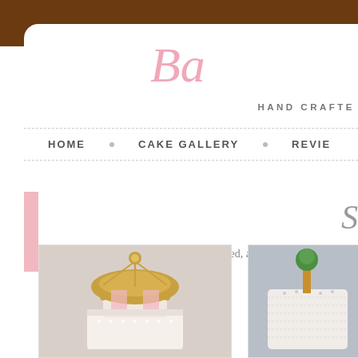Ba
HAND CRAFTE
HOME • CAKE GALLERY • REVIE
S
Sometimes a simple cake is all that is needed, an
[Figure (photo): Carousel-style decorated cake with gold ornamental details, pink and white elements, on white background]
[Figure (photo): White cake decorated to look like a knitted or textured surface with a small tree decoration on top, on grey background]